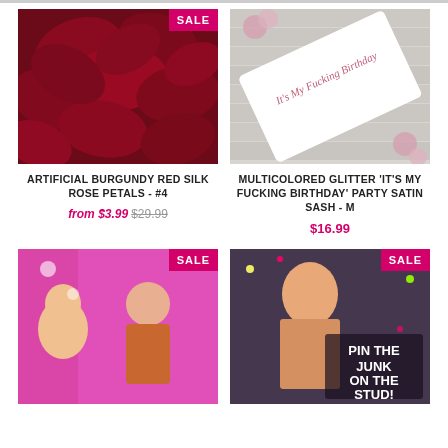[Figure (photo): Dark burgundy/red silk rose petals with a pink SALE badge in the top right corner]
[Figure (photo): White satin birthday sash on wooden background with text 'It's My Fucking Birthday' in pink glitter script, with flowers]
ARTIFICIAL BURGUNDY RED SILK ROSE PETALS - #4
from $3.99 $29.99
MULTICOLORED GLITTER 'IT'S MY FUCKING BIRTHDAY' PARTY SATIN SASH - M
$16.99
[Figure (photo): Adult party game box with cartoon illustration of a shirtless man and women, with a SALE badge]
[Figure (photo): Pin the Junk on the Stud adult party game with photo of shirtless muscular man and confetti, with a SALE badge]